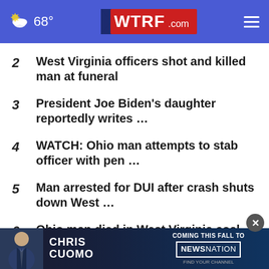68° WTRF.com
2 West Virginia officers shot and killed man at funeral
3 President Joe Biden's daughter reportedly writes ...
4 WATCH: Ohio man attempts to stab officer with pen ...
5 Man arrested for DUI after crash shuts down West ...
6 Ohio man died in West Virginia coal coal mine after ...
7 P... virus
[Figure (screenshot): Chris Cuomo Coming This Fall to NewsNation advertisement banner]